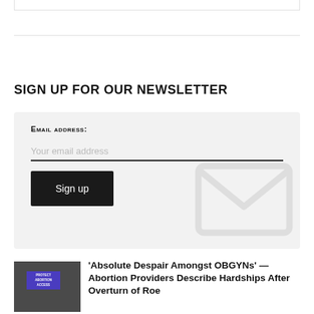SIGN UP FOR OUR NEWSLETTER
Email address:
Your email address
Sign up
'Absolute Despair Amongst OBGYNs' — Abortion Providers Describe Hardships After Overturn of Roe